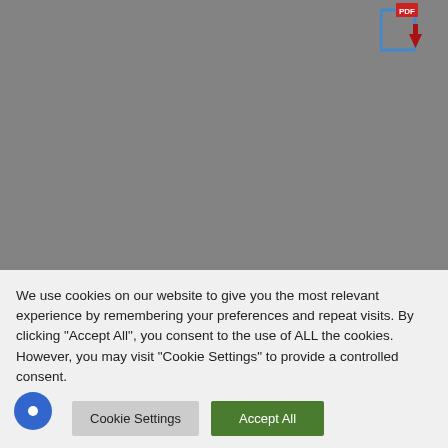[Figure (screenshot): Screenshot of a webpage showing a PDF download icon in the top right corner, a tab/card UI element with Russian text 'Где находится - W1 - Rear heated window ground Passenger' in italic gray text, and a cookie consent banner at the bottom with 'Cookie Settings' and 'Accept All' buttons.]
Где находится - W1 - Rear heated window ground Passenger
We use cookies on our website to give you the most relevant experience by remembering your preferences and repeat visits. By clicking "Accept All", you consent to the use of ALL the cookies. However, you may visit "Cookie Settings" to provide a controlled consent.